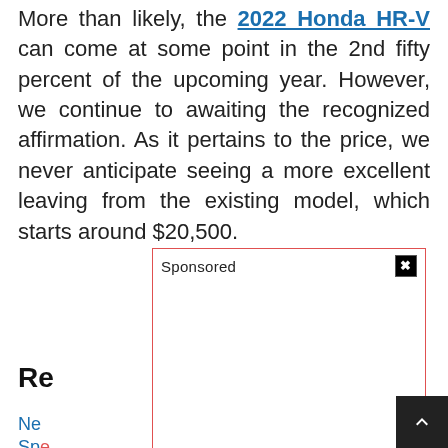More than likely, the 2022 Honda HR-V can come at some point in the 2nd fifty percent of the upcoming year. However, we continue to awaiting the recognized affirmation. As it pertains to the price, we never anticipate seeing a more excellent leaving from the existing model, which starts around $20,500.
[Figure (other): Sponsored advertisement box with red border, 'Sponsored' label at top center, close button (X) at top right, and empty white content area.]
Re
Ne
Sp